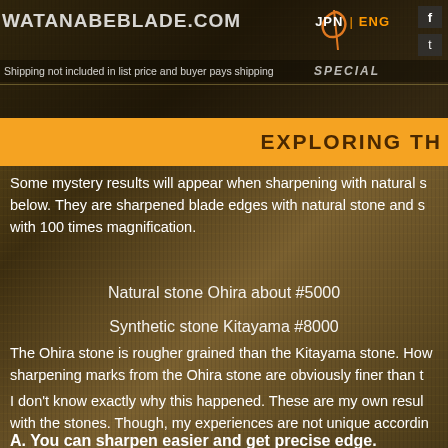WATANABEBLADE.COM
Shipping not included in list price and buyer pays shipping
SPECIAL
JPN | ENG
EXPLORING TH...
Some mystery results will appear when sharpening with natural s... below. They are sharpened blade edges with natural stone and s... with 100 times magnification.
Natural stone Ohira about #5000
Synthetic stone Kitayama #8000
The Ohira stone is rougher grained than the Kitayama stone. How... sharpening marks from the Ohira stone are obviously finer than t...
I don't know exactly why this happened. These are my own resul... with the stones. Though, my experiences are not unique accordin...
A. You can sharpen easier and get precise edge.